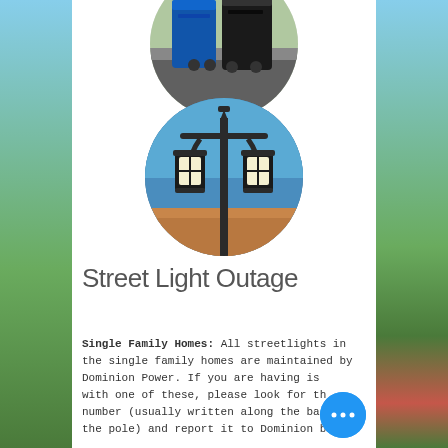[Figure (photo): Circular cropped photo of two trash/recycling bins (one blue, one black) on a sidewalk/driveway]
[Figure (photo): Circular cropped photo of a decorative double-headed street lamp post against a blue sky with a building in the background]
Street Light Outage
Single Family Homes: All streetlights in the single family homes are maintained by Dominion Power. If you are having issues with one of these, please look for the number (usually written along the base of the pole) and report it to Dominion by